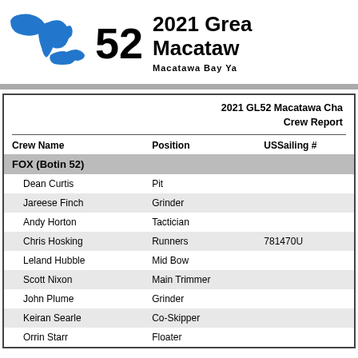[Figure (illustration): Blue silhouette map of the Great Lakes with '52' and event title to the right]
2021 Great Lakes Macatawa Championship
Macatawa Bay Yacht Club
2021 GL52 Macatawa Championship Crew Report
| Crew Name | Position | USSailing # |
| --- | --- | --- |
| FOX (Botin 52) |  |  |
| Dean Curtis | Pit |  |
| Jareese Finch | Grinder |  |
| Andy Horton | Tactician |  |
| Chris Hosking | Runners | 781470U |
| Leland Hubble | Mid Bow |  |
| Scott Nixon | Main Trimmer |  |
| John Plume | Grinder |  |
| Keiran Searle | Co-Skipper |  |
| Orrin Starr | Floater |  |